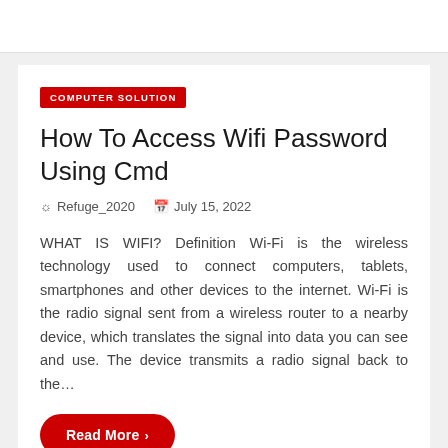COMPUTER SOLUTION
How To Access Wifi Password Using Cmd
Refuge_2020   July 15, 2022
WHAT IS WIFI? Definition Wi-Fi is the wireless technology used to connect computers, tablets, smartphones and other devices to the internet. Wi-Fi is the radio signal sent from a wireless router to a nearby device, which translates the signal into data you can see and use. The device transmits a radio signal back to the…
Read More >